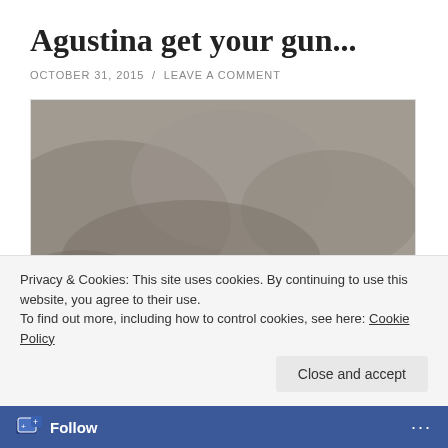Agustina get your gun...
OCTOBER 31, 2015 / LEAVE A COMMENT
[Figure (photo): Painting of a woman in historical dress standing beside a cannon with large wooden wheels, amid smoke and fire in the background. A second figure is partially visible at lower right.]
Privacy & Cookies: This site uses cookies. By continuing to use this website, you agree to their use.
To find out more, including how to control cookies, see here: Cookie Policy
Close and accept
Follow